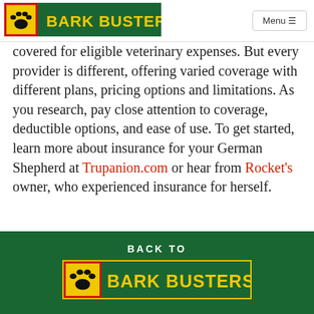BARK BUSTERS | Menu
covered for eligible veterinary expenses. But every provider is different, offering varied coverage with different plans, pricing options and limitations. As you research, pay close attention to coverage, deductible options, and ease of use. To get started, learn more about insurance for your German Shepherd at Trupanion.com or hear from Rocket's owner, who experienced insurance for herself.
BACK TO BARK BUSTERS